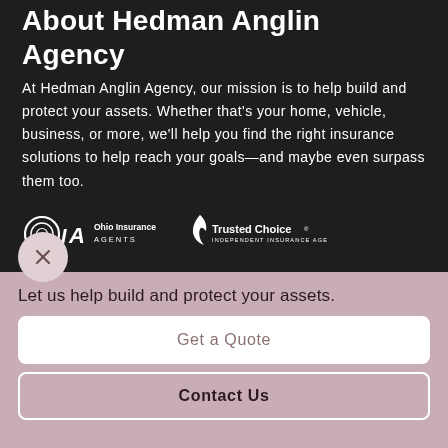About Hedman Anglin Agency
At Hedman Anglin Agency, our mission is to help build and protect your assets. Whether that's your home, vehicle, business, or more, we'll help you find the right insurance solutions to help reach your goals—and maybe even surpass them too.
[Figure (logo): OIA Ohio Insurance Agents logo and Trusted Choice Independent Insurance Agents logo, both in white on dark background]
Let us help build and protect your assets.
Get a Quote
Contact Us